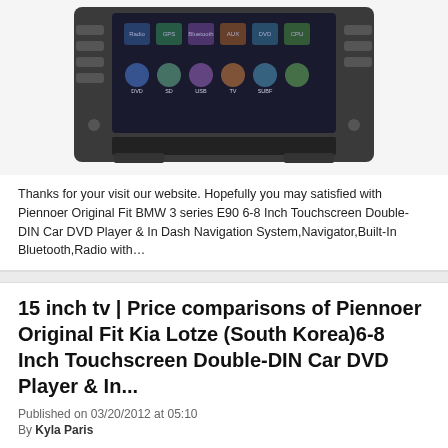[Figure (photo): Car DVD player with touchscreen display showing multiple icons/apps, double DIN format with dark grey bezel and side buttons]
Thanks for your visit our website. Hopefully you may satisfied with Piennoer Original Fit BMW 3 series E90 6-8 Inch Touchscreen Double-DIN Car DVD Player & In Dash Navigation System,Navigator,Built-In Bluetooth,Radio with…
15 inch tv | Price comparisons of Piennoer Original Fit Kia Lotze (South Korea)6-8 Inch Touchscreen Double-DIN Car DVD Player & In...
Published on 03/20/2012 at 05:10
By Kyla Paris
[Figure (photo): Black car dashboard mounting bracket/frame for double DIN car stereo installation]